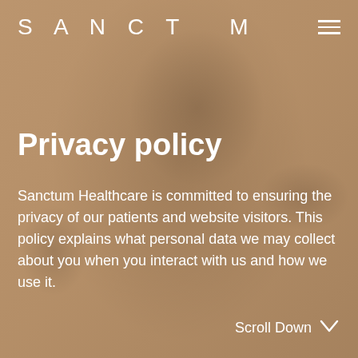SANCTUM
Privacy policy
Sanctum Healthcare is committed to ensuring the privacy of our patients and website visitors. This policy explains what personal data we may collect about you when you interact with us and how we use it.
Scroll Down